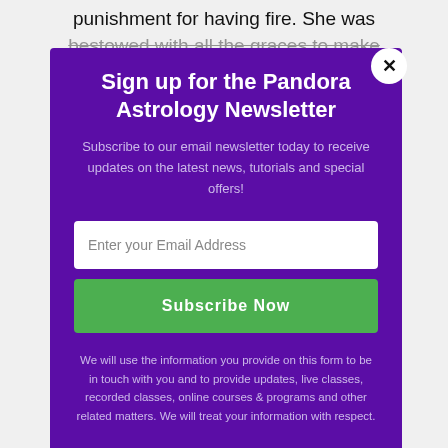punishment for having fire. She was
bestowed with all the graces to make
Sign up for the Pandora Astrology Newsletter
Subscribe to our email newsletter today to receive updates on the latest news, tutorials and special offers!
Enter your Email Address
Subscribe Now
We will use the information you provide on this form to be in touch with you and to provide updates, live classes, recorded classes, online courses & programs and other related matters. We will treat your information with respect.